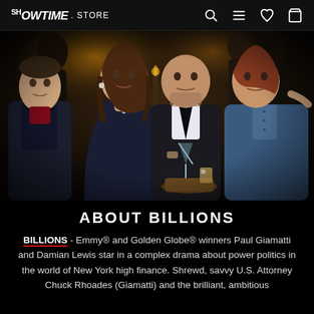SHOWTIME STORE
[Figure (photo): Promotional cast photo for Billions TV show. Four main cast members seated in a dark bar/lounge setting. From left: a young woman in a dark suit with shaved head, a woman in a dark blue dress with brown hair, a bald man in a dark suit holding a martini glass, and a man in a blue denim shirt with reddish hair. Background shows other people standing in a dimly lit upscale venue.]
ABOUT BILLIONS
BILLIONS - Emmy® and Golden Globe® winners Paul Giamatti and Damian Lewis star in a complex drama about power politics in the world of New York high finance. Shrewd, savvy U.S. Attorney Chuck Rhoades (Giamatti) and the brilliant, ambitious